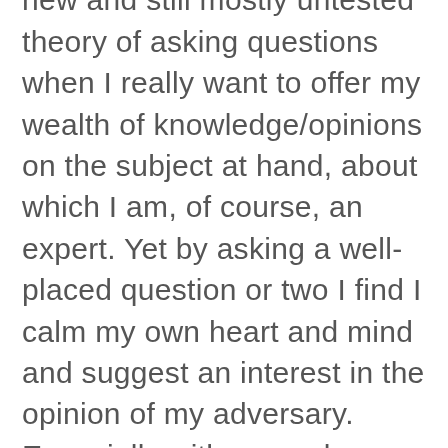I've developed a somewhat new and still mostly untested theory of asking questions when I really want to offer my wealth of knowledge/opinions on the subject at hand, about which I am, of course, an expert. Yet by asking a well-placed question or two I find I calm my own heart and mind and suggest an interest in the opinion of my adversary. Especially with co-workers, this strategy has been effective and new pathways of peace have been paved (ok, there are a few potholes but that was to be expected). Asking questions is particularly effective with teenagers since they know more than I do anyway and it gives them a chance to vent–as if that was necessary!